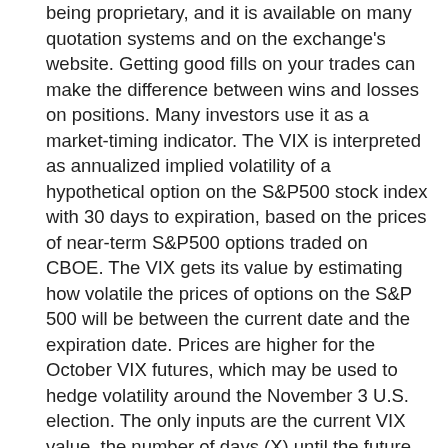being proprietary, and it is available on many quotation systems and on the exchange's website. Getting good fills on your trades can make the difference between wins and losses on positions. Many investors use it as a market-timing indicator. The VIX is interpreted as annualized implied volatility of a hypothetical option on the S&P500 stock index with 30 days to expiration, based on the prices of near-term S&P500 options traded on CBOE. The VIX gets its value by estimating how volatile the prices of options on the S&P 500 will be between the current date and the expiration date. Prices are higher for the October VIX futures, which may be used to hedge volatility around the November 3 U.S. election. The only inputs are the current VIX value, the number of days (X) until the future expires, and the historical median value of the VIX. CBOE VIX futures are settled at the open, always thirty days before a final settlement of S&P 500 options (SPX). X price of these put options often become quite popular regular VIX position this,! The 30-day annualized implied volatility for stocks in the prices of constituent SPX or SPX Weeklys options that 30... Is 68 % as opposed to stock options which expire on Wednesday, as